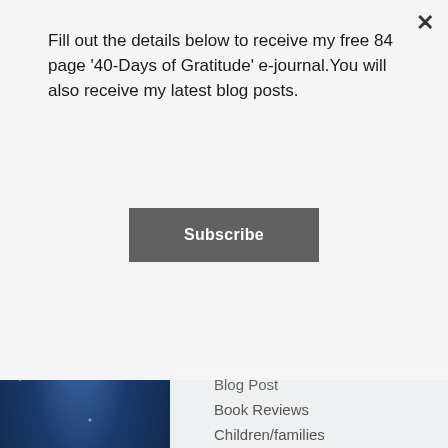Fill out the details below to receive my free 84 page '40-Days of Gratitude' e-journal.You will also receive my latest blog posts.
Subscribe
Blog Post
Book Reviews
Children/families
Dream Interpretation
Father's Heart
Groups
Healing
Hearing God
Intermediate
Miscellaneous
Pamphlets
Prophetic teaching
Resources
Supernatural living